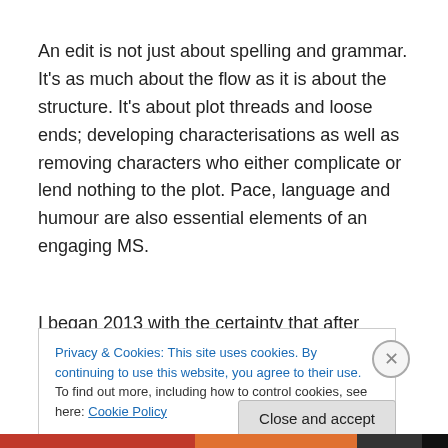An edit is not just about spelling and grammar. It's as much about the flow as it is about the structure. It's about plot threads and loose ends; developing characterisations as well as removing characters who either complicate or lend nothing to the plot. Pace, language and humour are also essential elements of an engaging MS.
I began 2013 with the certainty that after scores of read-
Privacy & Cookies: This site uses cookies. By continuing to use this website, you agree to their use.
To find out more, including how to control cookies, see here: Cookie Policy
Close and accept